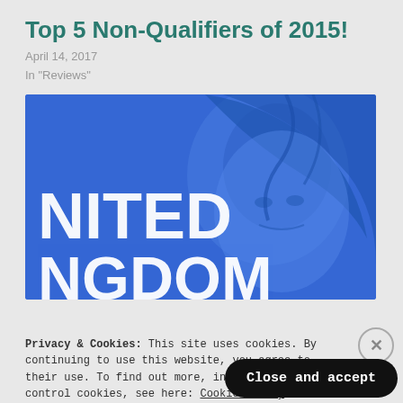Top 5 Non-Qualifiers of 2015!
April 14, 2017
In "Reviews"
[Figure (illustration): Blue-toned image of a woman with text overlay reading 'NITED KINGDOM' (United Kingdom partially visible), stylized promotional graphic]
Privacy & Cookies: This site uses cookies. By continuing to use this website, you agree to their use. To find out more, including how to control cookies, see here: Cookie Policy